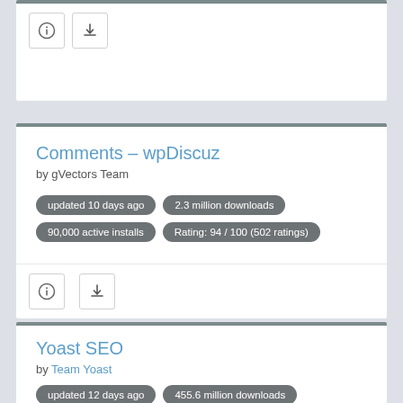[Figure (other): Plugin card top section showing info and download icon buttons]
Comments &#8211; wpDiscuz
by gVectors Team
updated 10 days ago
2.3 million downloads
90,000 active installs
Rating: 94 / 100 (502 ratings)
[Figure (other): Info and download icon buttons for Comments wpDiscuz plugin]
Yoast SEO
by Team Yoast
updated 12 days ago
455.6 million downloads
5 million active installs
Rating: 96 / 100 (27496 ratings)